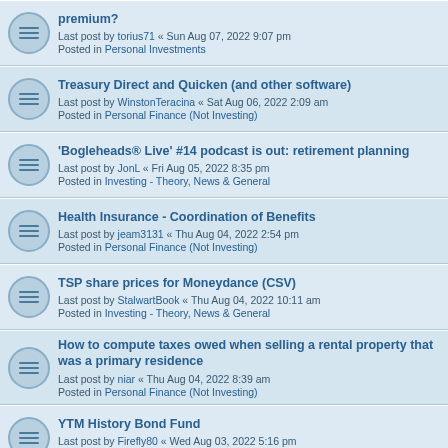premium? Last post by torius71 « Sun Aug 07, 2022 9:07 pm Posted in Personal Investments
Treasury Direct and Quicken (and other software) Last post by WinstonTeracina « Sat Aug 06, 2022 2:09 am Posted in Personal Finance (Not Investing)
'Bogleheads® Live' #14 podcast is out: retirement planning Last post by JonL « Fri Aug 05, 2022 8:35 pm Posted in Investing - Theory, News & General
Health Insurance - Coordination of Benefits Last post by jeam3131 « Thu Aug 04, 2022 2:54 pm Posted in Personal Finance (Not Investing)
TSP share prices for Moneydance (CSV) Last post by StalwartBook « Thu Aug 04, 2022 10:11 am Posted in Investing - Theory, News & General
How to compute taxes owed when selling a rental property that was a primary residence Last post by niar « Thu Aug 04, 2022 8:39 am Posted in Personal Finance (Not Investing)
YTM History Bond Fund Last post by Firefly80 « Wed Aug 03, 2022 5:16 pm Posted in Investing - Theory, News & General
Any AoPS like courses available for English for middle and high school students? Last post by worthit « Wed Aug 03, 2022 8:46 am Posted in Personal Consumer Issues